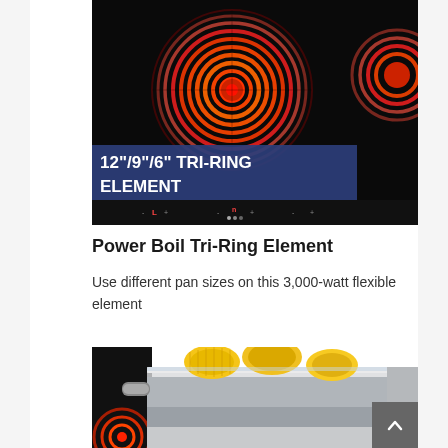[Figure (photo): Close-up photo of a black ceramic glass electric cooktop showing two glowing red tri-ring heating elements. A blue overlay banner reads '12"/9"/6" TRI-RING ELEMENT' in bold white text. Touch controls are visible at the bottom of the cooktop.]
Power Boil Tri-Ring Element
Use different pan sizes on this 3,000-watt flexible element
[Figure (photo): Photo of a large stainless steel pot filled with boiling corn on the cob, placed on a black ceramic glass electric cooktop with a visible red heating element in the lower left corner.]